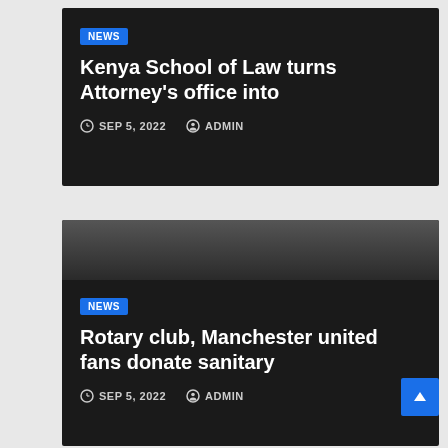[Figure (screenshot): News article card 1 with dark background showing NEWS badge, headline about Kenya School of Law, and metadata with date and author]
[Figure (screenshot): News article card 2 with dark background showing NEWS badge, headline about Rotary club Manchester united fans, and metadata with date and author]